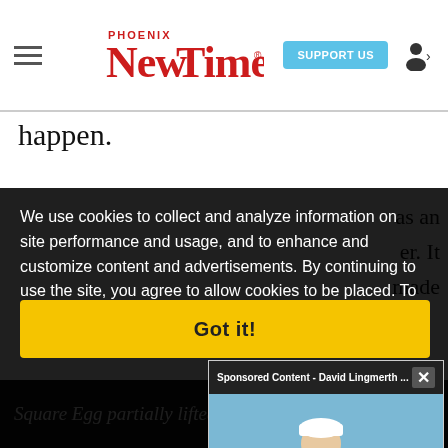[Figure (screenshot): Phoenix New Times website header with hamburger menu, red logo, Support Us button, and user icon]
happen.
We use cookies to collect and analyze information on site performance and usage, and to enhance and customize content and advertisements. By continuing to use the site, you agree to allow cookies to be placed. To find out more, visit our cookies policy a…
[Figure (photo): Sponsored Content popup showing David Lingmerth holding a golf trophy, with a mute button overlay and close button]
Got it!
Square Egg partially lifted some of the prop